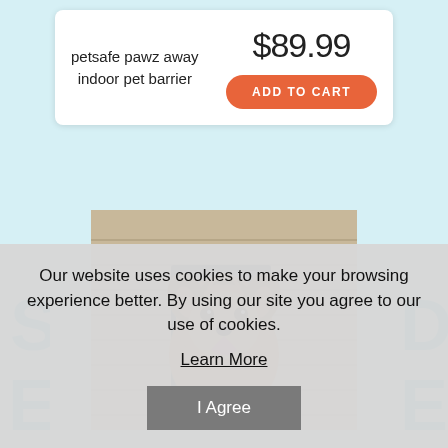petsafe pawz away indoor pet barrier
$89.99
ADD TO CART
[Figure (photo): A small terrier dog poking its head through a pet door flap in a wall, with tongue out, looking at the camera]
Our website uses cookies to make your browsing experience better. By using our site you agree to our use of cookies.
Learn More
I Agree